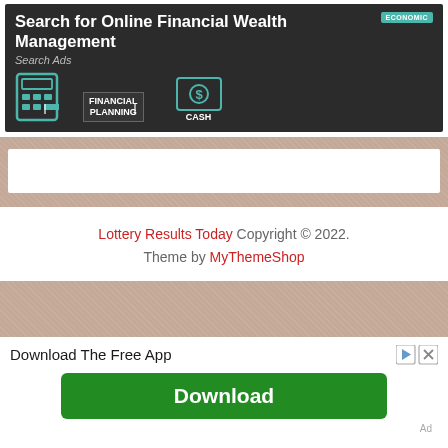[Figure (screenshot): Dark banner advertisement for online financial wealth management showing calculator icon, financial planning label, cash icon, and ECONOMIC badge in teal. Text: Search for Online Financial Wealth Management, Search Ads, FINANCIAL PLANNING, CASH, ECONOMIC.]
[Figure (screenshot): Tan/beige textured background section with a white empty search/input bar.]
Lottery Results Today Copyright © 2022. Theme by MyThemeShop
[Figure (screenshot): Bottom advertisement: tan textured background section, then white area with 'Download The Free App' title and a green Download button. Ad label at bottom right.]